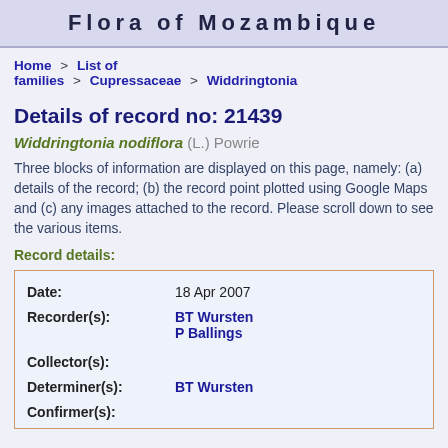Flora of Mozambique
Home > List of families > Cupressaceae > Widdringtonia
Details of record no: 21439
Widdringtonia nodiflora (L.) Powrie
Three blocks of information are displayed on this page, namely: (a) details of the record; (b) the record point plotted using Google Maps and (c) any images attached to the record. Please scroll down to see the various items.
Record details:
| Field | Value |
| --- | --- |
| Date: | 18 Apr 2007 |
| Recorder(s): | BT Wursten
P Ballings |
| Collector(s): |  |
| Determiner(s): | BT Wursten |
| Confirmer(s): |  |